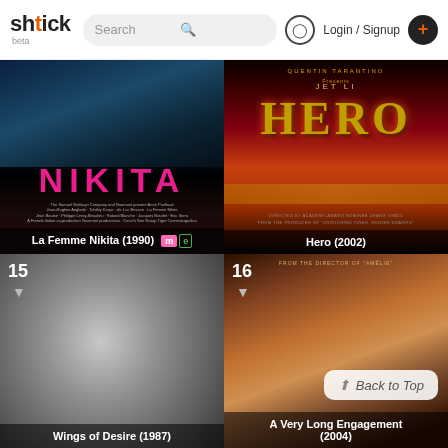shtick beta | Search | Login / Signup | +
[Figure (photo): La Femme Nikita (1990) movie poster — dark blue tones with pink NIKITA title text and film credits]
[Figure (photo): Hero (2002) Jet Li movie poster — Quentin Tarantino Presents, dramatic red/gold colors with large HERO text]
[Figure (photo): Wings of Desire (1987) movie still — black and white close-up of a face, badge number 15]
[Figure (photo): A Very Long Engagement (2004) movie poster — warm amber/orange tones with two faces, badge number 16, Back to Top button overlay]